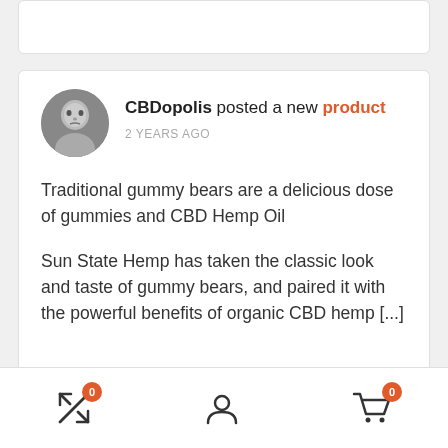[Figure (screenshot): Partial top card from previous post, white card with rounded corners]
CBDopolis posted a new product
2 YEARS AGO
Traditional gummy bears are a delicious dose of gummies and CBD Hemp Oil
Sun State Hemp has taken the classic look and taste of gummy bears, and paired it with the powerful benefits of organic CBD hemp [...]
CBDopolis posted a new product
0  [user icon]  0